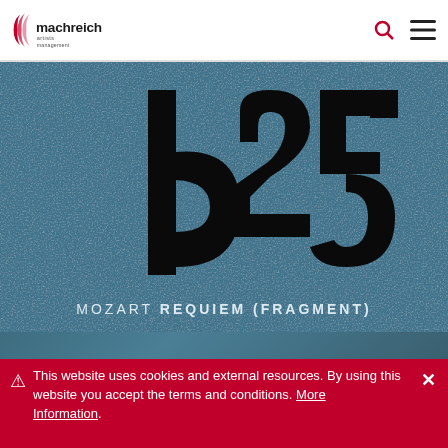[Figure (logo): Machreich Artists Management logo — stylized parenthesis/wave mark in red beside 'machreich' in dark text and 'artists management' in smaller text]
[Figure (illustration): Album cover art on steel-blue textured background featuring large stylized black characters forming 'b25', with text 'MOZART REQUIEM (FRAGMENT)' at the bottom]
MOZART REQUIEM (FRAGMENT)
⚠ This website uses cookies and external resources. By using this website you accept the terms and conditions. More Information.